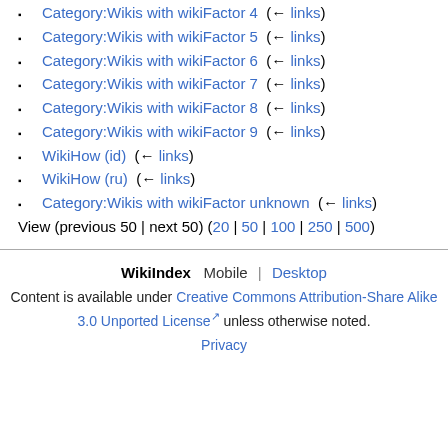Category:Wikis with wikiFactor 4  (← links)
Category:Wikis with wikiFactor 5  (← links)
Category:Wikis with wikiFactor 6  (← links)
Category:Wikis with wikiFactor 7  (← links)
Category:Wikis with wikiFactor 8  (← links)
Category:Wikis with wikiFactor 9  (← links)
WikiHow (id)  (← links)
WikiHow (ru)  (← links)
Category:Wikis with wikiFactor unknown  (← links)
View (previous 50 | next 50) (20 | 50 | 100 | 250 | 500)
WikiIndex  Mobile  |  Desktop
Content is available under Creative Commons Attribution-Share Alike 3.0 Unported License unless otherwise noted.
Privacy